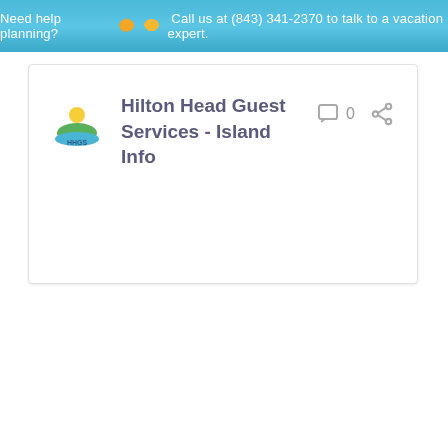Need help planning? Call us at (843) 341-2370 to talk to a vacation expert.
Hilton Head Guest Services - Island Info